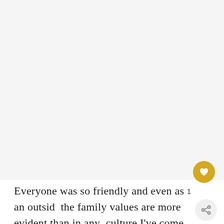[Figure (photo): Large image area, appears mostly blank/light gray, representing a photo placeholder at the top of the page.]
Everyone was so friendly and even as an outsid the family values are more evident than in any culture I've come across. From the way the Days